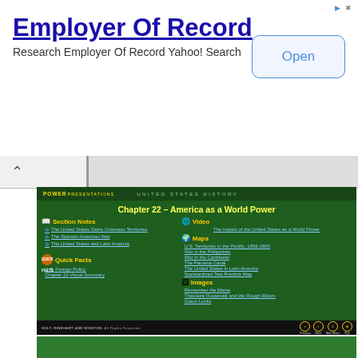[Figure (screenshot): Advertisement banner for 'Employer Of Record' with Open button, Yahoo search ad]
[Figure (screenshot): Educational presentation slide: Chapter 22 – America as a World Power, Power Presentations, United States History. Section Notes, Quick Facts, Video, Maps, Images links listed.]